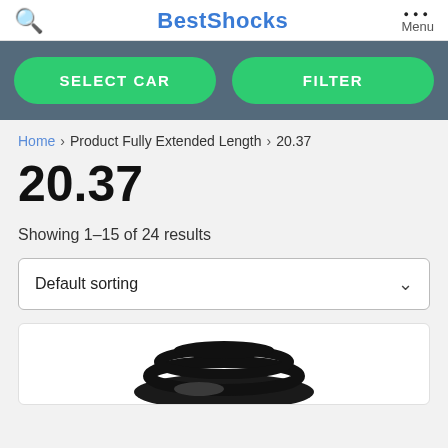BestShocks
SELECT CAR  FILTER
Home > Product Fully Extended Length > 20.37
20.37
Showing 1–15 of 24 results
Default sorting
[Figure (photo): Partial view of a black shock absorber/coil spring automotive part]